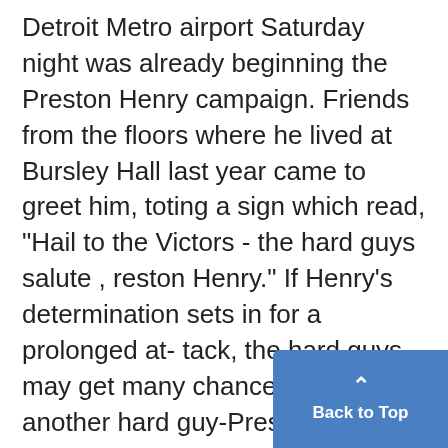Detroit Metro airport Saturday night was already beginning the Preston Henry campaign. Friends from the floors where he lived at Bursley Hall last year came to greet him, toting a sign which read, "Hail to the Victors - the hard guys salute , reston Henry." If Henry's determination sets in for a prolonged at- tack, the hard guys may get many chances to salute another hard guy-Preston Henry.
Back to Top